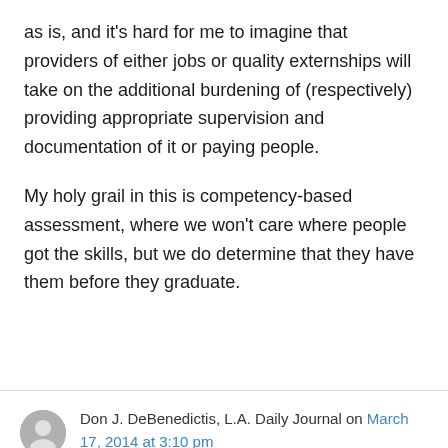as is, and it's hard for me to imagine that providers of either jobs or quality externships will take on the additional burdening of (respectively) providing appropriate supervision and documentation of it or paying people.
My holy grail in this is competency-based assessment, where we won't care where people got the skills, but we do determine that they have them before they graduate.
Don J. DeBenedictis, L.A. Daily Journal on March 17, 2014 at 3:10 pm
The council meeting was in San Diego, not San Francisco.